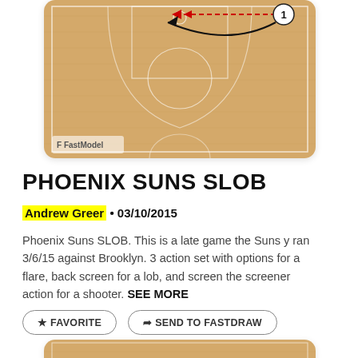[Figure (illustration): Basketball court diagram (SLOB play diagram) with player movement arrows — a red dashed arrow and black curved arrow showing a Phoenix Suns SLOB play, with a circled number 1 player marker in the top right corner. FastModel Sports watermark in bottom left.]
PHOENIX SUNS SLOB
Andrew Greer • 03/10/2015
Phoenix Suns SLOB. This is a late game the Suns y ran 3/6/15 against Brooklyn. 3 action set with options for a flare, back screen for a lob, and screen the screener action for a shooter. SEE MORE
★ FAVORITE
⎋ SEND TO FASTDRAW
[Figure (illustration): Partial basketball court diagram at the bottom of the page, cut off.]